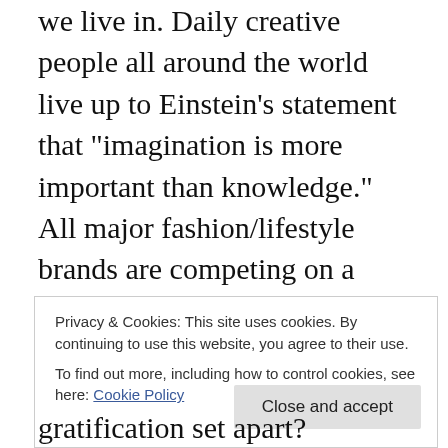we live in. Daily creative people all around the world live up to Einstein's statement that "imagination is more important than knowledge." All major fashion/lifestyle brands are competing on a daily basis how to celebrate life and its diversity and beauty. At the same time, they are overwhelming most of us, trying to get our attention by running their daily social media race, that we all got more or less used or addicted to.
Is it possible at all to keep up with all the constantly changing trends and styles – even if we had almost unlimited financial resources to do so? At the end of the
Privacy & Cookies: This site uses cookies. By continuing to use this website, you agree to their use.
To find out more, including how to control cookies, see here: Cookie Policy
gratification set apart?